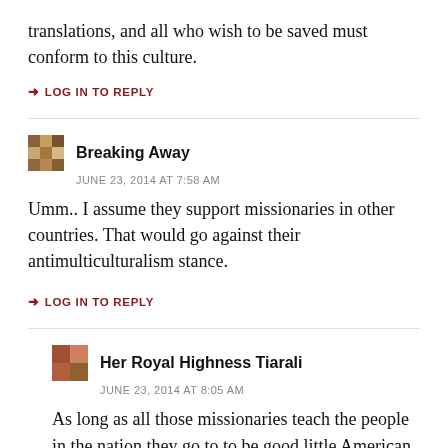translations, and all who wish to be saved must conform to this culture.
→ LOG IN TO REPLY
Breaking Away
JUNE 23, 2014 AT 7:58 AM
Umm.. I assume they support missionaries in other countries. That would go against their antimulticulturalism stance.
→ LOG IN TO REPLY
Her Royal Highness Tiarali
JUNE 23, 2014 AT 8:05 AM
As long as all those missionaries teach the people in the nation they go to to be good little American fundies...